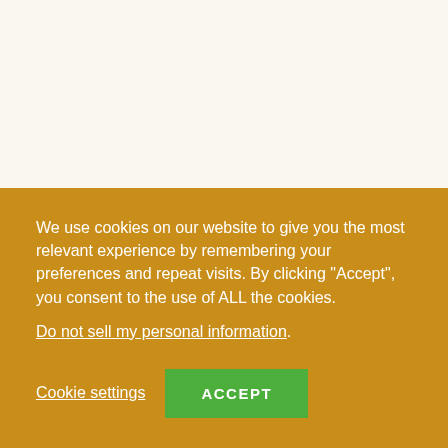11TH NOVEMBER 2021 BY BROMLEY STORE
TTBromley Thursday – It's
We use cookies on our website to give you the most relevant experience by remembering your preferences and repeat visits. By clicking "Accept", you consent to the use of ALL the cookies.
Do not sell my personal information.
Cookie settings  ACCEPT